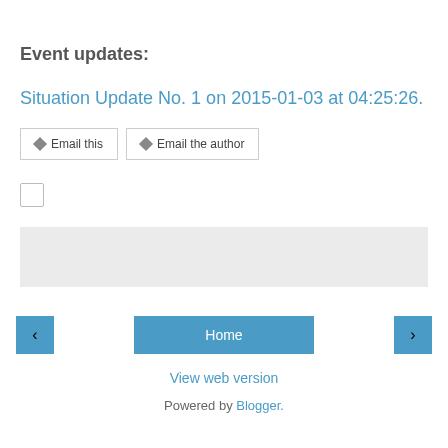Event updates:
Situation Update No. 1 on 2015-01-03 at 04:25:26.
[Figure (screenshot): Two buttons: 'Email this' and 'Email the author', each with a diamond icon, bordered button style]
[Figure (screenshot): Small checkbox (unchecked)]
[Figure (screenshot): Gray rectangular area (advertisement or content block)]
[Figure (screenshot): Navigation row with left arrow button, Home button, and right arrow button, all in blue]
View web version
Powered by Blogger.